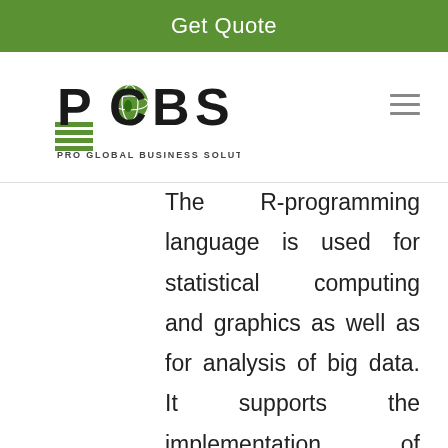Get Quote
[Figure (logo): PGBS - Pro Global Business Solutions logo with green globe icon and horizontal green lines]
The R-programming language is used for statistical computing and graphics as well as for analysis of big data. It supports the implementation of multiple statistical tests. The software